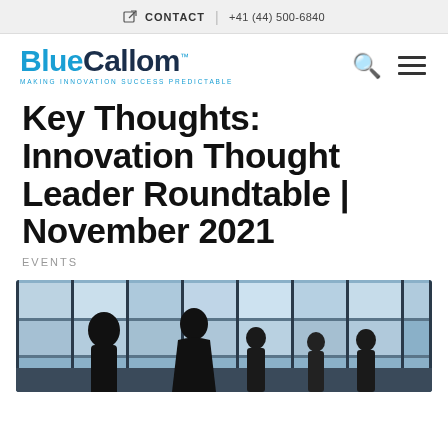CONTACT  |  +41 (44) 500-6840
[Figure (logo): BlueCallom logo with tagline MAKING INNOVATION SUCCESS PREDICTABLE]
Key Thoughts: Innovation Thought Leader Roundtable | November 2021
EVENTS
[Figure (photo): Silhouettes of business people standing in front of large windows, backlit scene]